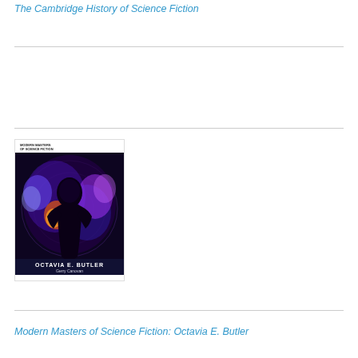The Cambridge History of Science Fiction
[Figure (illustration): Book cover of 'Octavia E. Butler' by Gerry Canovan, part of Modern Masters of Science Fiction series. Cover features a stylized figure with cosmic/nebula imagery in purple and blue hues with orange accents.]
Modern Masters of Science Fiction: Octavia E. Butler